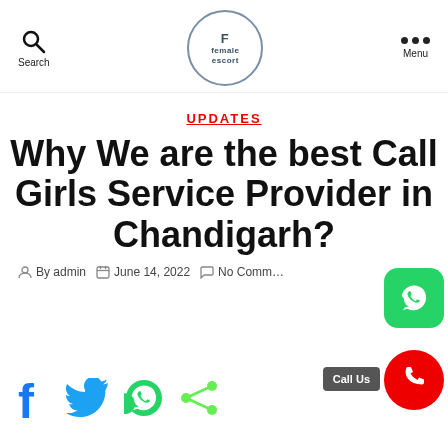Search | female escort logo | Menu
UPDATES
Why We are the best Call Girls Service Provider in Chandigarh?
By admin   June 14, 2022   No Comments
[Figure (logo): WhatsApp floating action button (green rounded square)]
[Figure (logo): Call Us button and red phone FAB]
[Figure (logo): Social share icons: Facebook, Twitter, WhatsApp, Share]